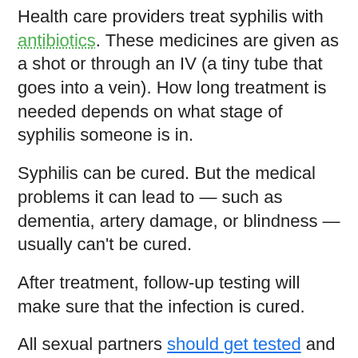Health care providers treat syphilis with antibiotics. These medicines are given as a shot or through an IV (a tiny tube that goes into a vein). How long treatment is needed depends on what stage of syphilis someone is in.
Syphilis can be cured. But the medical problems it can lead to — such as dementia, artery damage, or blindness — usually can't be cured.
After treatment, follow-up testing will make sure that the infection is cured.
All sexual partners should get tested and treated, if necessary:
For primary syphilis: partners from the last 3 months